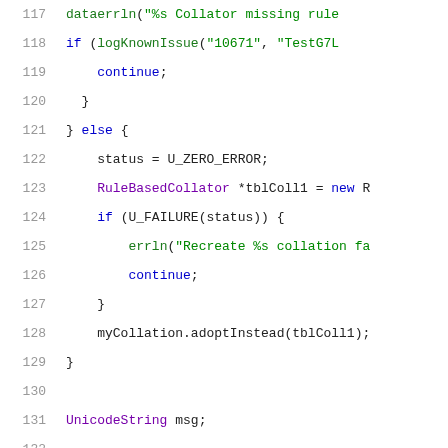[Figure (screenshot): Source code snippet (C++) showing lines 117-137 with syntax highlighting. Line numbers in gray on left, code with colored tokens (green for strings/function calls, purple for types, blue for keywords) on white background.]